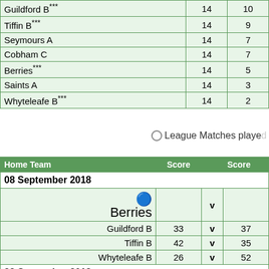| Team | P | W |
| --- | --- | --- |
| Guildford B*** | 14 | 10 |
| Tiffin B*** | 14 | 9 |
| Seymours A | 14 | 7 |
| Cobham C | 14 | 7 |
| Berries*** | 14 | 5 |
| Saints A | 14 | 3 |
| Whyteleafe B*** | 14 | 2 |
○ League Matches played
| Home Team | Score | Score |
| --- | --- | --- |
| 08 September 2018 |  |  |
| Berries |  | v |  |
| Guildford B | 33 | v | 37 |
| Tiffin B | 42 | v | 35 |
| Whyteleafe B | 26 | v | 52 |
| 22 September 2018 |  |  |
| Cobham C | 42 | v | 40 |
| Saints A | 35 | v | 46 |